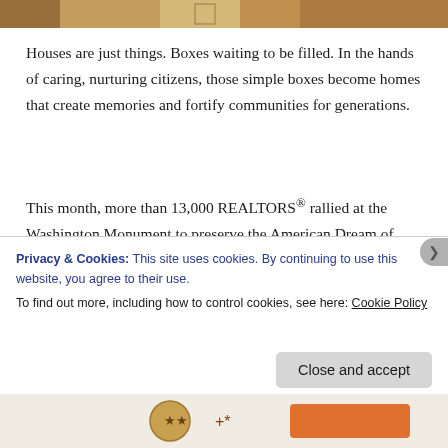[Figure (photo): Partial view of a photo at the top of the page, showing warm amber/brown tones, likely a house or outdoor scene.]
Houses are just things. Boxes waiting to be filled. In the hands of caring, nurturing citizens, those simple boxes become homes that create memories and fortify communities for generations.
This month, more than 13,000 REALTORS® rallied at the Washington Monument to preserve the American Dream of homeownership. Some components of the dream are being threatened by budget pressures and market realities. But homeownership is very much alive and well, as more than three out of five residencies are owner-
Privacy & Cookies: This site uses cookies. By continuing to use this website, you agree to their use.
To find out more, including how to control cookies, see here: Cookie Policy
Close and accept
[Figure (photo): Partial view of bottom strip with icons/logos, orange and brown tones.]